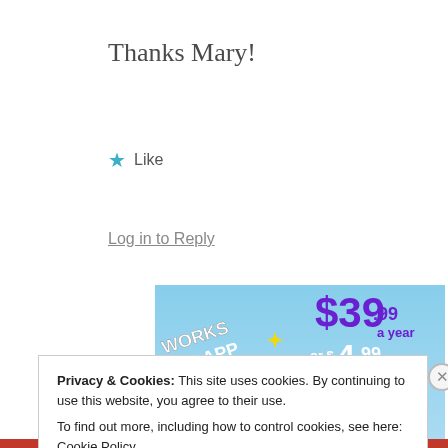Thanks Mary!
Like
Log in to Reply
[Figure (screenshot): Tumblr ad showing the Tumblr logo (stylized letter t in purple, white and pink) against a blue sky background with sparkle stars. Text reads: WORKS THE APP TOO! and $39.99 a year or $4.99 a month + FREE SHIPPING]
Privacy & Cookies: This site uses cookies. By continuing to use this website, you agree to their use.
To find out more, including how to control cookies, see here: Cookie Policy
Close and accept